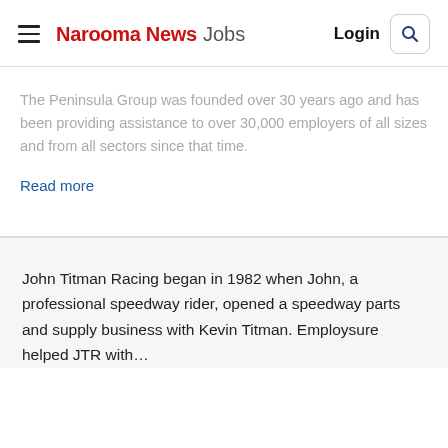Narooma News Jobs Login
The Peninsula Group was founded over 30 years ago and has been providing assistance to over 30,000 employers of all sizes and from all sectors since that time.
Read more
John Titman Racing began in 1982 when John, a professional speedway rider, opened a speedway parts and supply business with Kevin Titman. Employsure helped JTR with…